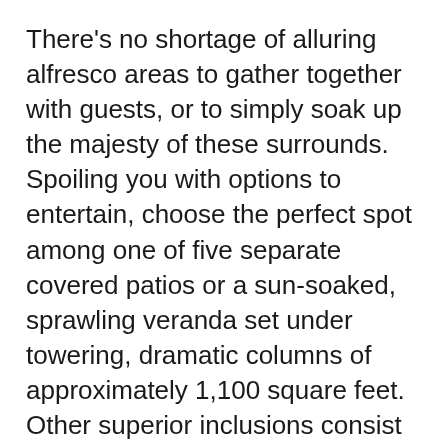There's no shortage of alluring alfresco areas to gather together with guests, or to simply soak up the majesty of these surrounds. Spoiling you with options to entertain, choose the perfect spot among one of five separate covered patios or a sun-soaked, sprawling veranda set under towering, dramatic columns of approximately 1,100 square feet. Other superior inclusions consist of separate Mrs. and Mr. offices and a gated motor court (which runs three cars deep) plus 1,024 square feet of garages.
Ensconced within the esteemed gated community of Cedar Ridge Estates and tucked away between towering cedars and pines which rise high above Lake Arrowhead, this is